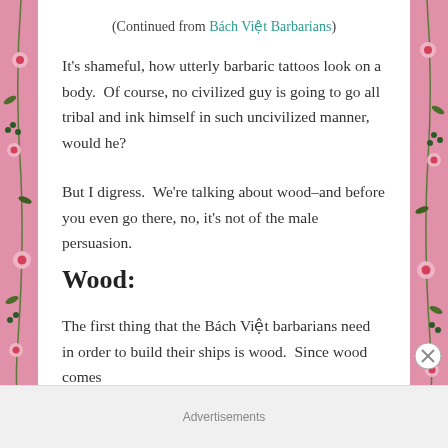(Continued from Bách Việt Barbarians)
It's shameful, how utterly barbaric tattoos look on a body.  Of course, no civilized guy is going to go all tribal and ink himself in such uncivilized manner, would he?
But I digress.  We're talking about wood–and before you even go there, no, it's not of the male persuasion.
Wood:
The first thing that the Bách Việt barbarians need in order to build their ships is wood.  Since wood comes
Advertisements